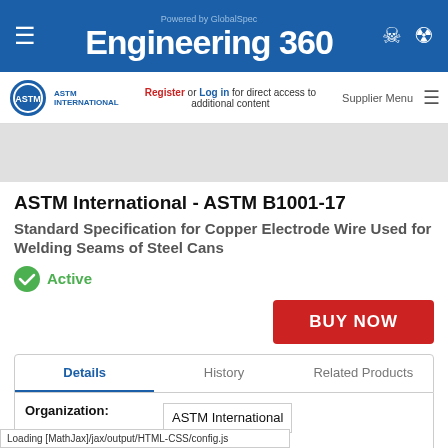Engineering 360 - Powered by GlobalSpec
Register or Log in for direct access to additional content
ASTM International - ASTM B1001-17
Standard Specification for Copper Electrode Wire Used for Welding Seams of Steel Cans
Active
BUY NOW
Details | History | Related Products
Organization: ASTM International
1 January
Loading [MathJax]/jax/output/HTML-CSS/config.js